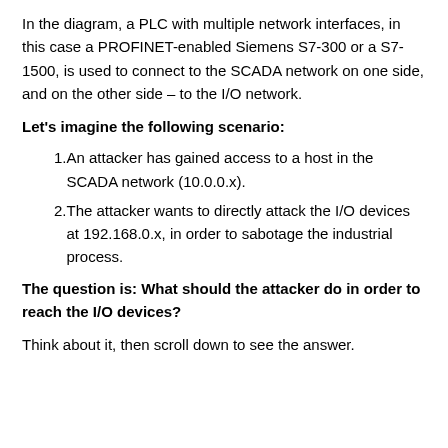In the diagram, a PLC with multiple network interfaces, in this case a PROFINET-enabled Siemens S7-300 or a S7-1500, is used to connect to the SCADA network on one side, and on the other side – to the I/O network.
Let's imagine the following scenario:
An attacker has gained access to a host in the SCADA network (10.0.0.x).
The attacker wants to directly attack the I/O devices at 192.168.0.x, in order to sabotage the industrial process.
The question is: What should the attacker do in order to reach the I/O devices?
Think about it, then scroll down to see the answer.